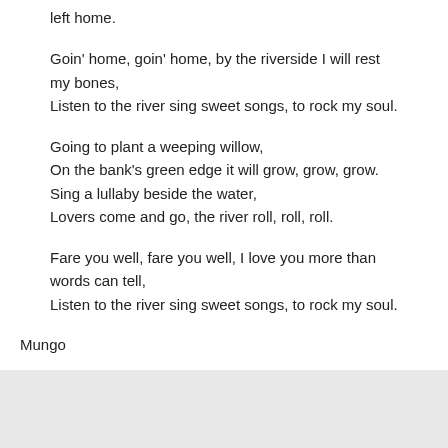left home.
Goin' home, goin' home, by the riverside I will rest my bones,
Listen to the river sing sweet songs, to rock my soul.
Going to plant a weeping willow,
On the bank's green edge it will grow, grow, grow.
Sing a lullaby beside the water,
Lovers come and go, the river roll, roll, roll.
Fare you well, fare you well, I love you more than words can tell,
Listen to the river sing sweet songs, to rock my soul.
Mungo